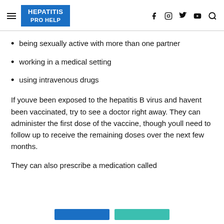HEPATITIS PRO HELP
being sexually active with more than one partner
working in a medical setting
using intravenous drugs
If youve been exposed to the hepatitis B virus and havent been vaccinated, try to see a doctor right away. They can administer the first dose of the vaccine, though youll need to follow up to receive the remaining doses over the next few months.
They can also prescribe a medication called